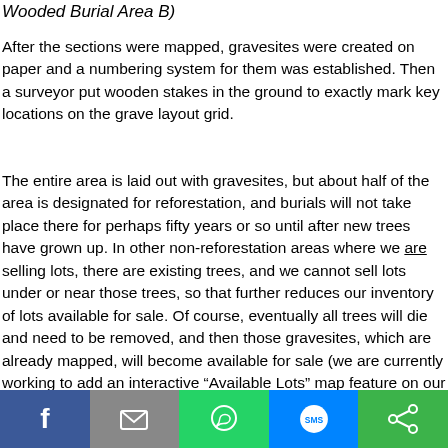Wooded Burial Area B)
After the sections were mapped, gravesites were created on paper and a numbering system for them was established. Then a surveyor put wooden stakes in the ground to exactly mark key locations on the grave layout grid.
The entire area is laid out with gravesites, but about half of the area is designated for reforestation, and burials will not take place there for perhaps fifty years or so until after new trees have grown up. In other non-reforestation areas where we are selling lots, there are existing trees, and we cannot sell lots under or near those trees, so that further reduces our inventory of lots available for sale. Of course, eventually all trees will die and need to be removed, and then those gravesites, which are already mapped, will become available for sale (we are currently working to add an interactive “Available Lots” map feature on our website, where website visitors can pick out
Facebook | Email | WhatsApp | SMS | Share